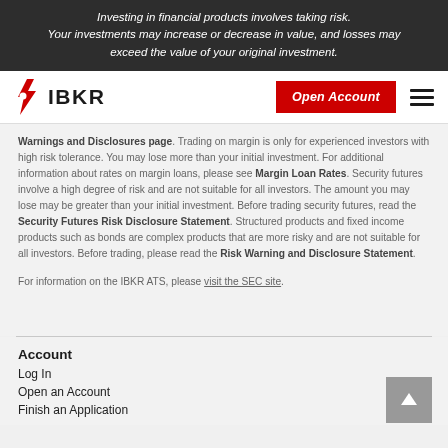Investing in financial products involves taking risk. Your investments may increase or decrease in value, and losses may exceed the value of your original investment.
[Figure (logo): IBKR logo with red flame/spark icon and IBKR text]
Warnings and Disclosures page. Trading on margin is only for experienced investors with high risk tolerance. You may lose more than your initial investment. For additional information about rates on margin loans, please see Margin Loan Rates. Security futures involve a high degree of risk and are not suitable for all investors. The amount you may lose may be greater than your initial investment. Before trading security futures, read the Security Futures Risk Disclosure Statement. Structured products and fixed income products such as bonds are complex products that are more risky and are not suitable for all investors. Before trading, please read the Risk Warning and Disclosure Statement.
For information on the IBKR ATS, please visit the SEC site.
Account
Log In
Open an Account
Finish an Application